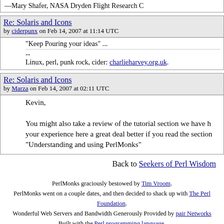—Mary Shafer, NASA Dryden Flight Research C
Re: Solaris and Icons
by ciderpunx on Feb 14, 2007 at 11:14 UTC
"Keep Pouring your ideas" ...
--
Linux, perl, punk rock, cider: charlieharvey.org.uk.
Re: Solaris and Icons
by Marza on Feb 14, 2007 at 02:11 UTC
Kevin,

You might also take a review of the tutorial section we have h your experience here a great deal better if you read the section "Understanding and using PerlMonks"
Back to Seekers of Perl Wisdom
PerlMonks graciously bestowed by Tim Vroom.
PerlMonks went on a couple dates, and then decided to shack up with The Perl Foundation.
Wonderful Web Servers and Bandwidth Generously Provided by pair Networks
Built with the Perl programming language.